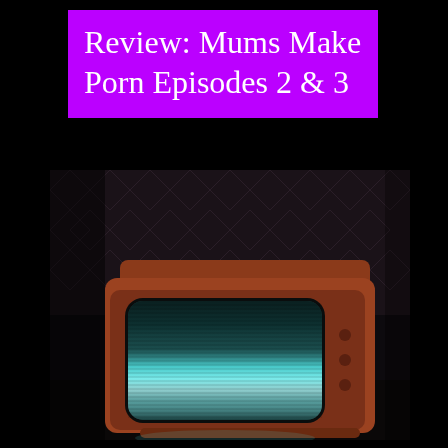Review: Mums Make Porn Episodes 2 & 3
[Figure (photo): A vintage retro television set with a rounded screen glowing teal/cyan, sitting on a dark surface against a dark patterned background. The TV casing is orange-red/brown. The screen displays horizontal scan lines with a blue-green glow.]